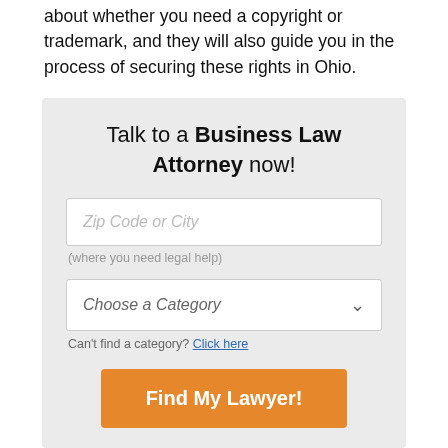about whether you need a copyright or trademark, and they will also guide you in the process of securing these rights in Ohio.
Talk to a Business Law Attorney now!
Zip Code or City
(where you need legal help)
Choose a Category
Can't find a category? Click here
Find My Lawyer!